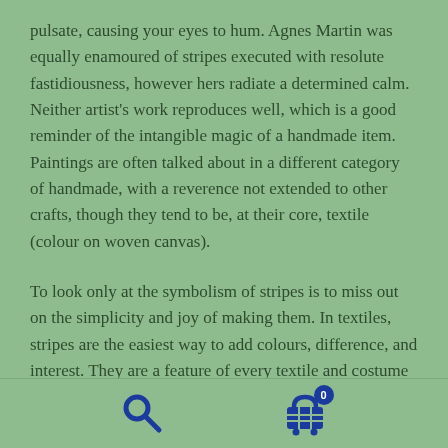pulsate, causing your eyes to hum. Agnes Martin was equally enamoured of stripes executed with resolute fastidiousness, however hers radiate a determined calm. Neither artist's work reproduces well, which is a good reminder of the intangible magic of a handmade item. Paintings are often talked about in a different category of handmade, with a reverence not extended to other crafts, though they tend to be, at their core, textile (colour on woven canvas).
To look only at the symbolism of stripes is to miss out on the simplicity and joy of making them. In textiles, stripes are the easiest way to add colours, difference, and interest. They are a feature of every textile and costume museum I have been to around the globe. I find it hard to imagine
[Figure (other): Search icon (magnifying glass) and shopping cart icon with badge showing 0, both in dark blue, displayed in the footer navigation bar]